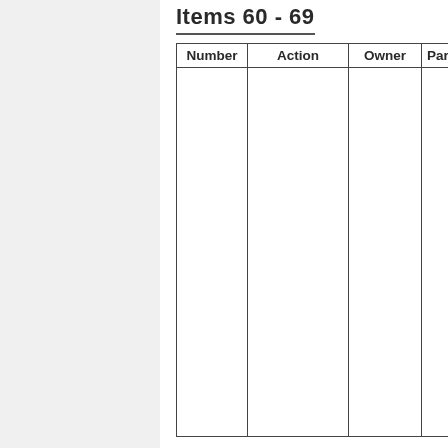Items 60 - 69
| Number | Action | Owner | Particip... |
| --- | --- | --- | --- |
|  |  |  |  |